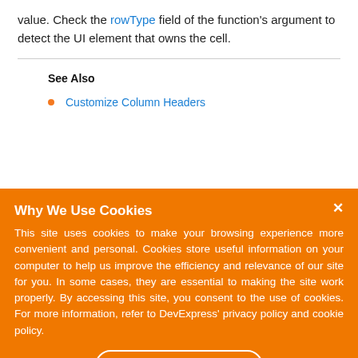value. Check the rowType field of the function's argument to detect the UI element that owns the cell.
See Also
Customize Column Headers
Why We Use Cookies
This site uses cookies to make your browsing experience more convenient and personal. Cookies store useful information on your computer to help us improve the efficiency and relevance of our site for you. In some cases, they are essential to making the site work properly. By accessing this site, you consent to the use of cookies. For more information, refer to DevExpress' privacy policy and cookie policy.
I UNDERSTAND